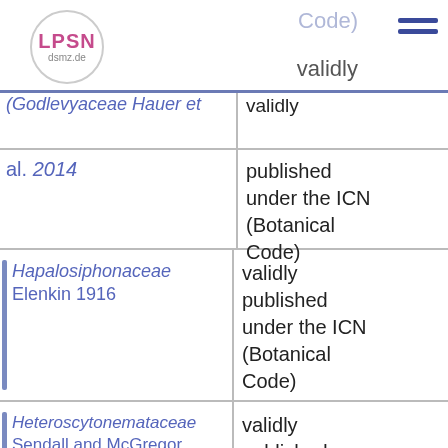LPSN dsmz.de — Code)  validly
| Name | Status |
| --- | --- |
| Godlevyaceae Hauer et al. 2014 | validly published under the ICN (Botanical Code) |
| Hapalosiphonaceae Elenkin 1916 | validly published under the ICN (Botanical Code) |
| Heteroscytonemataceae Sendall and McGregor 2018 | validly published under the ICN (Botanical Code) |
| Nostocaceae Eichler | validly |